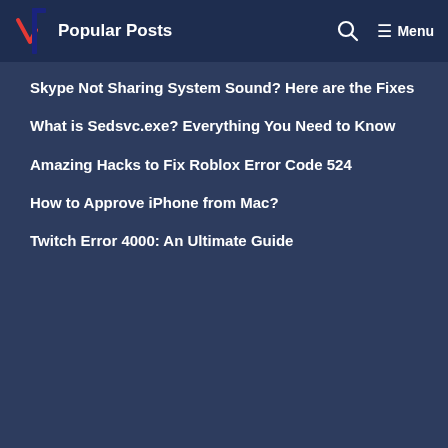Popular Posts
Skype Not Sharing System Sound? Here are the Fixes
What is Sedsvc.exe? Everything You Need to Know
Amazing Hacks to Fix Roblox Error Code 524
How to Approve iPhone from Mac?
Twitch Error 4000: An Ultimate Guide